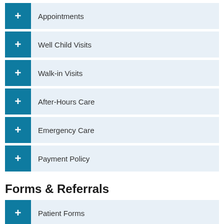Appointments
Well Child Visits
Walk-in Visits
After-Hours Care
Emergency Care
Payment Policy
Forms & Referrals
Patient Forms
Referral Information